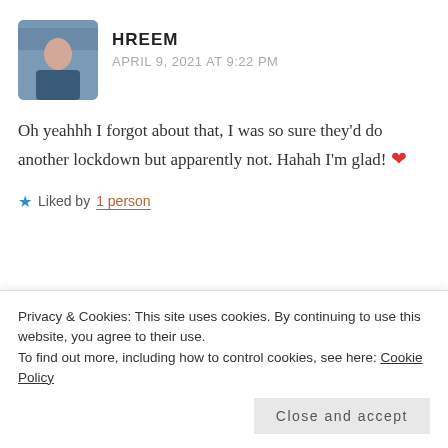[Figure (photo): Profile photo of commenter named HREEM, showing a person outdoors with background scenery]
HREEM
APRIL 9, 2021 AT 9:22 PM
Oh yeahhh I forgot about that, I was so sure they'd do another lockdown but apparently not. Hahah I'm glad! ❤️
★ Liked by 1 person
Privacy & Cookies: This site uses cookies. By continuing to use this website, you agree to their use.
To find out more, including how to control cookies, see here: Cookie Policy
Close and accept